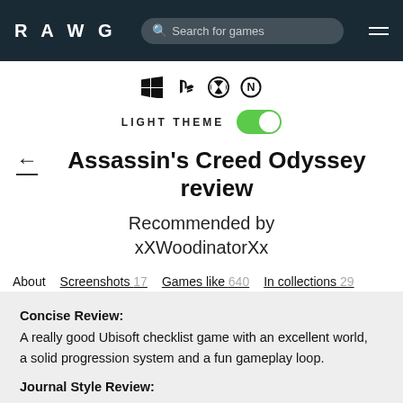RAWG  Search for games  ☰
[Figure (other): Platform icons: Windows, PlayStation, Xbox, Nintendo]
LIGHT THEME (toggle on)
Assassin's Creed Odyssey review
Recommended by xXWoodinatorXx
About  Screenshots 17  Games like 640  In collections 29
Concise Review:
A really good Ubisoft checklist game with an excellent world, a solid progression system and a fun gameplay loop.

Journal Style Review: